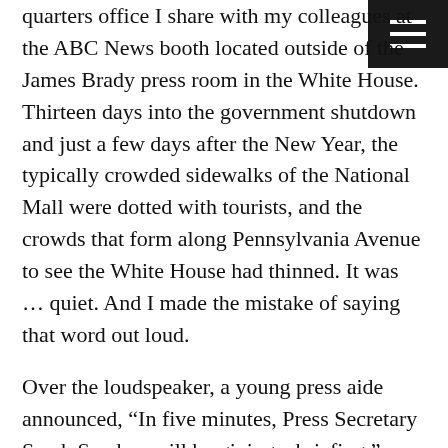quarters office I share with my colleagues at the ABC News booth located outside of the James Brady press room in the White House. Thirteen days into the government shutdown and just a few days after the New Year, the typically crowded sidewalks of the National Mall were dotted with tourists, and the crowds that form along Pennsylvania Avenue to see the White House had thinned. It was … quiet. And I made the mistake of saying that word out loud.

Over the loudspeaker, a young press aide announced, “In five minutes, Press Secretary Sarah Sanders will be giving a briefing.” There had not been a press briefing—a daily occurrence in past administrations—in weeks, and it was by all measures a slow news